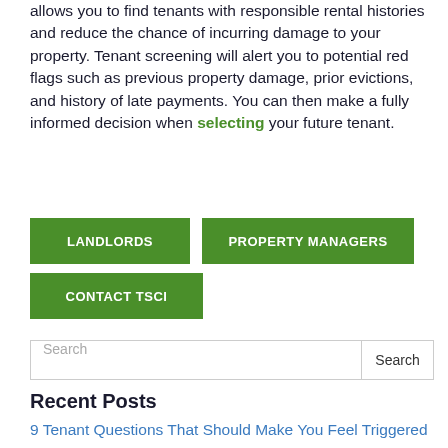allows you to find tenants with responsible rental histories and reduce the chance of incurring damage to your property. Tenant screening will alert you to potential red flags such as previous property damage, prior evictions, and history of late payments. You can then make a fully informed decision when selecting your future tenant.
[Figure (other): Three green call-to-action buttons: LANDLORDS, PROPERTY MANAGERS, CONTACT TSCI]
[Figure (other): Search bar with Search button]
Recent Posts
9 Tenant Questions That Should Make You Feel Triggered